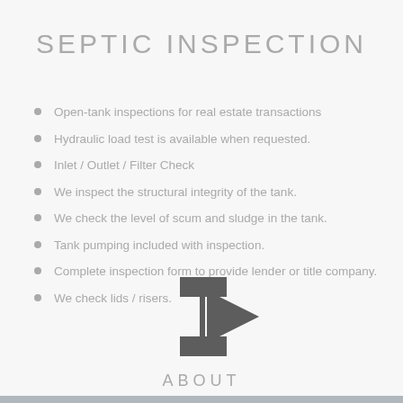SEPTIC INSPECTION
Open-tank inspections for real estate transactions
Hydraulic load test is available when requested.
Inlet / Outlet / Filter Check
We inspect the structural integrity of the tank.
We check the level of scum and sludge in the tank.
Tank pumping included with inspection.
Complete inspection form to provide lender or title company.
We check lids / risers.
[Figure (illustration): Dark gray right-pointing arrow/chevron icon overlapping the list text]
ABOUT